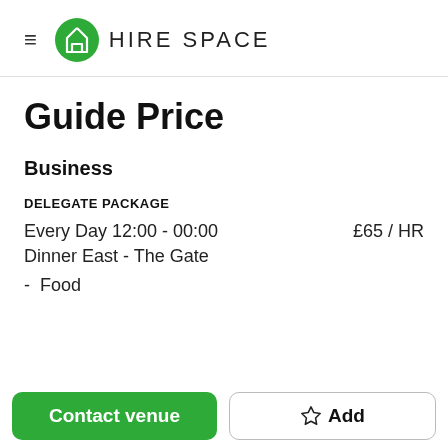HIRE SPACE
Guide Price
Business
DELEGATE PACKAGE
Every Day 12:00 - 00:00   £65 / HR
Dinner East - The Gate
- Food
Contact venue
Add